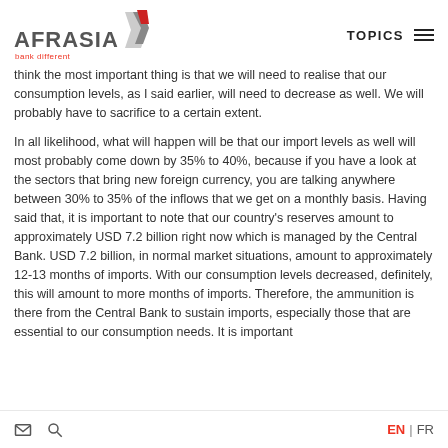AfrAsia bank different | TOPICS
think the most important thing is that we will need to realise that our consumption levels, as I said earlier, will need to decrease as well. We will probably have to sacrifice to a certain extent.
In all likelihood, what will happen will be that our import levels as well will most probably come down by 35% to 40%, because if you have a look at the sectors that bring new foreign currency, you are talking anywhere between 30% to 35% of the inflows that we get on a monthly basis. Having said that, it is important to note that our country's reserves amount to approximately USD 7.2 billion right now which is managed by the Central Bank. USD 7.2 billion, in normal market situations, amount to approximately 12-13 months of imports. With our consumption levels decreased, definitely, this will amount to more months of imports. Therefore, the ammunition is there from the Central Bank to sustain imports, especially those that are essential to our consumption needs. It is important
EN | FR